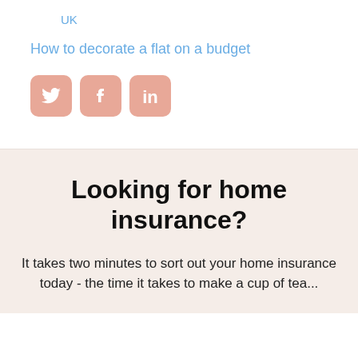UK
How to decorate a flat on a budget
[Figure (infographic): Three social media share icons: Twitter (bird), Facebook (f), and LinkedIn (in), each in a rounded square with a muted pink/salmon background color.]
Looking for home insurance?
It takes two minutes to sort out your home insurance today - the time it takes to make a cup of tea...